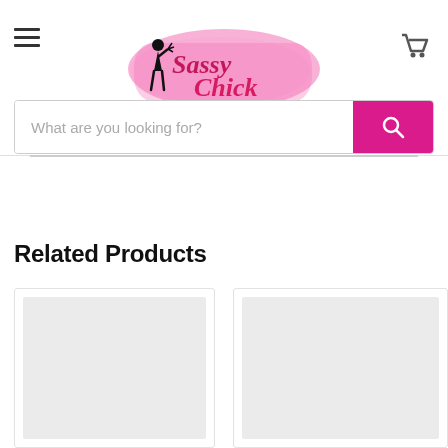[Figure (logo): Sassy Chick logo with pink brushstroke background and silhouette figure]
What are you looking for?
Related Products
[Figure (photo): Product image placeholder (light gray rectangle) in first product card]
[Figure (photo): Product image placeholder (light gray rectangle) in second product card]